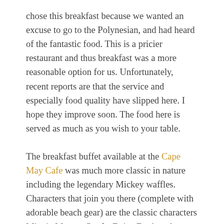chose this breakfast because we wanted an excuse to go to the Polynesian, and had heard of the fantastic food. This is a pricier restaurant and thus breakfast was a more reasonable option for us. Unfortunately, recent reports are that the service and especially food quality have slipped here. I hope they improve soon. The food here is served as much as you wish to your table.
The breakfast buffet available at the Cape May Cafe was much more classic in nature including the legendary Mickey waffles. Characters that join you there (complete with adorable beach gear) are the classic characters Minnie Mouse, Goofy, Daisy Duck and Donald Duck. We probably had the most character encounter time at this location with multiple visits by each one.